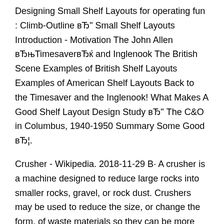Designing Small Shelf Layouts for operating fun : Climb-Outline вЂ" Small Shelf Layouts Introduction - Motivation The John Allen вЂњTimesaverвЂќ and Inglenook The British Scene Examples of British Shelf Layouts Examples of American Shelf Layouts Back to the Timesaver and the Inglenook! What Makes A Good Shelf Layout Design Study вЂ" The C&O in Columbus, 1940-1950 Summary Some Good вЂ¦.
Crusher - Wikipedia. 2018-11-29 В· A crusher is a machine designed to reduce large rocks into smaller rocks, gravel, or rock dust. Crushers may be used to reduce the size, or change the form, of waste materials so they can be more easily disposed of or recycled , or to reduce the size of a solid mix of raw materials (as in rock ore ), so that of using the Turbo NAS (network-attached storage). Please read carefully and start to Please read carefully and start to enjoy the powerful functions of the Turbo NAS!